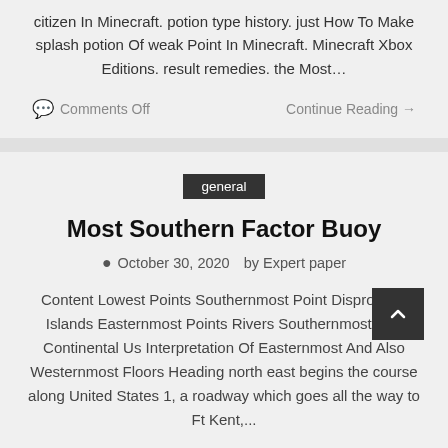citizen In Minecraft. potion type history. just How To Make splash potion Of weak Point In Minecraft. Minecraft Xbox Editions. result remedies. the Most…
Comments Off   Continue Reading →
general
Most Southern Factor Buoy
October 30, 2020  by Expert paper
Content Lowest Points Southernmost Point Disproved? Islands Easternmost Points Rivers Southernmost P… In Continental Us Interpretation Of Easternmost And Also Westernmost Floors Heading north east begins the course along United States 1, a roadway which goes all the way to Ft Kent,...